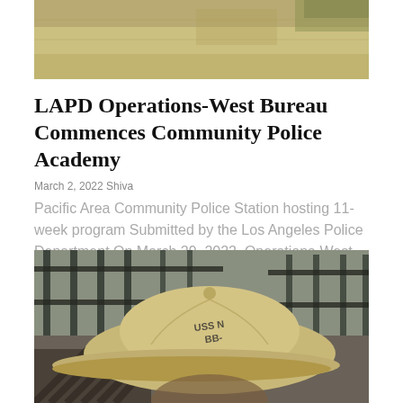[Figure (photo): Top photo: outdoor pavement/ground scene, cropped]
LAPD Operations-West Bureau Commences Community Police Academy
March 2, 2022 Shiva
Pacific Area Community Police Station hosting 11-week program Submitted by the Los Angeles Police Department On March 29, 2022, Operations-West...
[Figure (photo): Person wearing a tan/khaki USS baseball cap, standing near a metal fence with pavement/street in background]